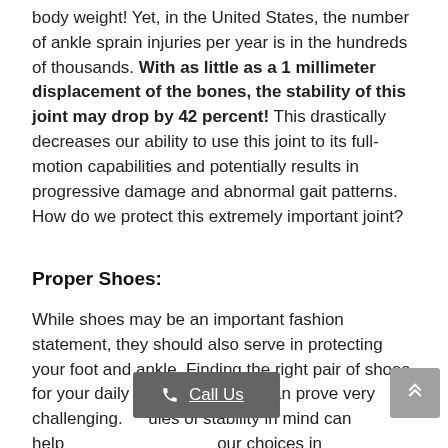body weight! Yet, in the United States, the number of ankle sprain injuries per year is in the hundreds of thousands. With as little as a 1 millimeter displacement of the bones, the stability of this joint may drop by 42 percent! This drastically decreases our ability to use this joint to its full-motion capabilities and potentially results in progressive damage and abnormal gait patterns. How do we protect this extremely important joint?
Proper Shoes:
While shoes may be an important fashion statement, they should also serve in protecting your foot and ankle. Finding the right pair of shoes for your daily or athletic needs can prove very challenging. ules of stability in mind can help our choices in